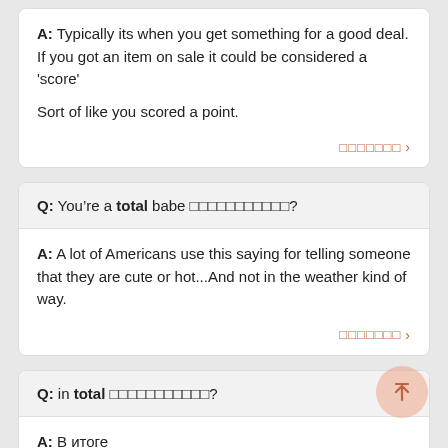A: Typically its when you get something for a good deal. If you got an item on sale it could be considered a 'score'

Sort of like you scored a point.
Q: You're a total babe [non-latin characters]?
A: A lot of Americans use this saying for telling someone that they are cute or hot...And not in the weather kind of way.
Q: in total [non-latin characters]?
A: В итоге